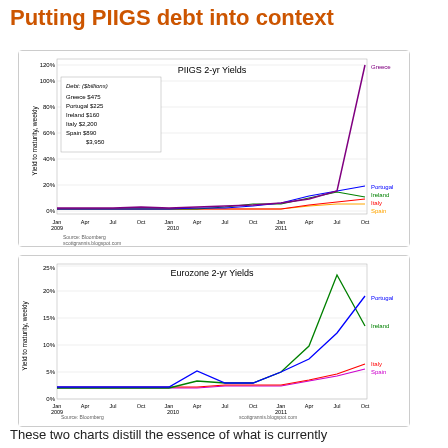Putting PIIGS debt into context
[Figure (line-chart): PIIGS 2-yr Yields]
[Figure (line-chart): Eurozone 2-yr Yields]
These two charts distill the essence of what is currently